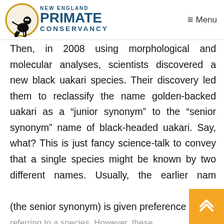New England Primate Conservancy — Menu
Then, in 2008 using morphological and molecular analyses, scientists discovered a new black uakari species. Their discovery led them to reclassify the name golden-backed uakari as a “junior synonym” to the “senior synonym” name of black-headed uakari. Say, what? This is just fancy science-talk to convey that a single species might be known by two different names. Usually, the earlier nam (the senior synonym) is given preference referring to a species. However, these